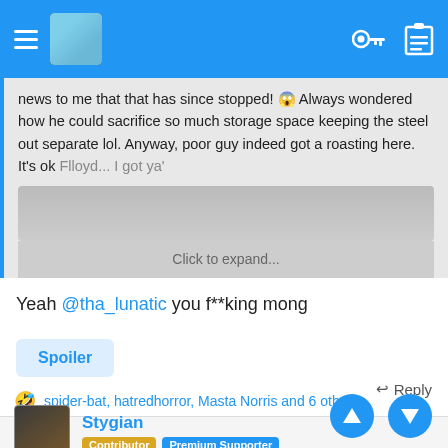Navigation bar with hamburger menu, avatar, key icon, clipboard icon
news to me that that has since stopped! 😱 Always wondered how he could sacrifice so much storage space keeping the steel out separate lol. Anyway, poor guy indeed got a roasting here. It's ok Flloyd... I got ya'
Click to expand...
Yeah @tha_lunatic you f**king mong
Spoiler
🤣 spider-bat, hatredhorror, Masta Norris and 6 others
↩ Reply
Stygian
Contributor  Premium Supporter